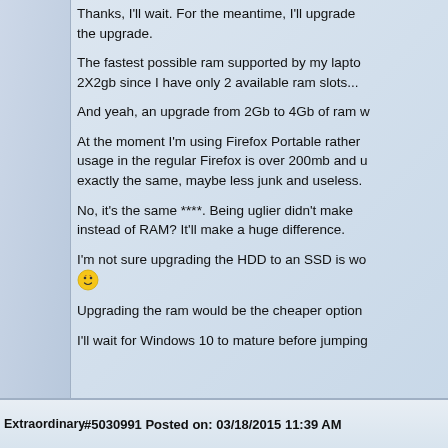Thanks, I'll wait. For the meantime, I'll upgrade the upgrade.

The fastest possible ram supported by my laptop 2X2gb since I have only 2 available ram slots...

And yeah, an upgrade from 2Gb to 4Gb of ram w

At the moment I'm using Firefox Portable rather usage in the regular Firefox is over 200mb and u exactly the same, maybe less junk and useless.

No, it's the same ****. Being uglier didn't make instead of RAM? It'll make a huge difference.

I'm not sure upgrading the HDD to an SSD is wo 😊

Upgrading the ram would be the cheaper option

I'll wait for Windows 10 to mature before jumping
Extraordinary   #5030991 Posted on: 03/18/2015 11:39 AM